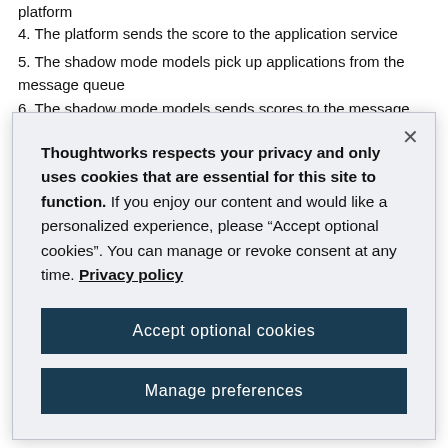platform
4. The platform sends the score to the application service
5. The shadow mode models pick up applications from the message queue
6. The shadow mode models sends scores to the message
Thoughtworks respects your privacy and only uses cookies that are essential for this site to function. If you enjoy our content and would like a personalized experience, please “Accept optional cookies”. You can manage or revoke consent at any time. Privacy policy
Accept optional cookies
Manage preferences